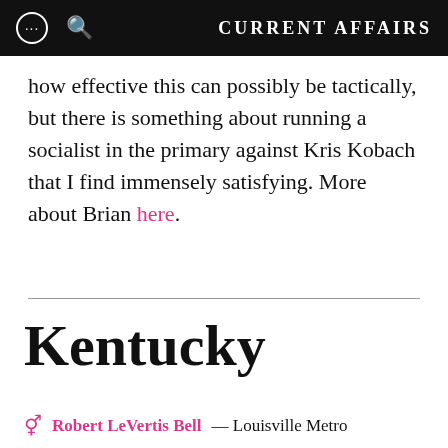CURRENT AFFAIRS
how effective this can possibly be tactically, but there is something about running a socialist in the primary against Kris Kobach that I find immensely satisfying. More about Brian here.
Kentucky
Robert LeVertis Bell — Louisville Metro